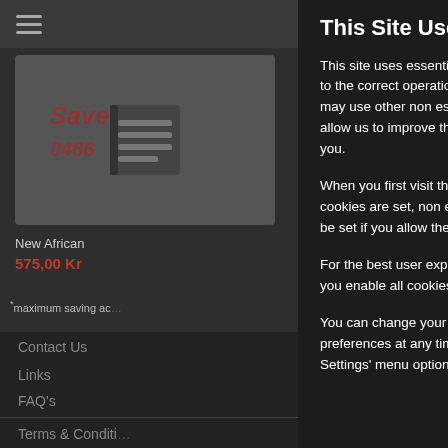This Site Uses Cookies
This site uses essential cookies which are vital to the correct operation of this website, we may use other non essential cookies which allow us to improve the service we provide to you.
When you first visit this site ony the essential cookies are set, non essential cookies will only be set if you allow them in the settings below.
For the best user experience we recommend you enable all cookies.
You can change your cookie consent preferences at any time by using the 'Cookie Settings' menu option located at